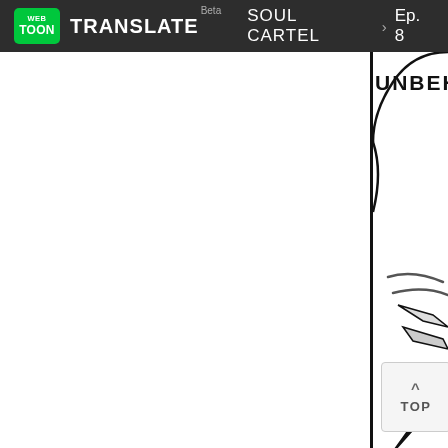WEBTOON TRANSLATE Beta   SOUL CARTEL > Ep. 8
[Figure (screenshot): Webtoon Translate interface showing a manga/webtoon panel for Soul Cartel Episode 8. The left portion is white/blank and the right portion shows a comic panel with partial text 'UNBEHA...' in a speech bubble, hand/finger sketch lines in the middle-right, and a lightning bolt shape at the lower right. A vertical black dividing line separates the white area from the comic content. A 'TOP' navigation button with an upward arrow appears at the bottom center-right.]